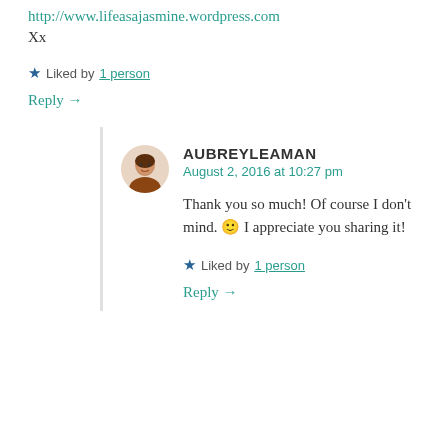http://www.lifeasajasmine.wordpress.com
Xx
★ Liked by 1 person
Reply →
AUBREYLEAMAN
August 2, 2016 at 10:27 pm
Thank you so much! Of course I don't mind. 🙂 I appreciate you sharing it!
★ Liked by 1 person
Reply →